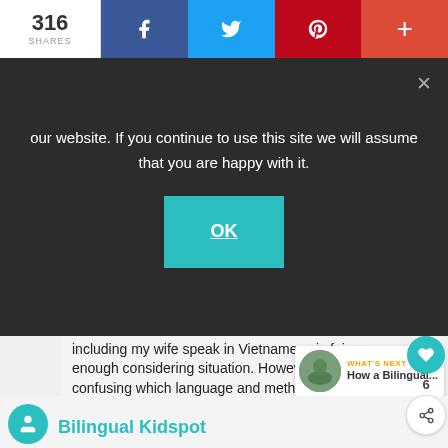316 SHARES | Facebook | Twitter | Pinterest | +
our website. If you continue to use this site we will assume that you are happy with it.
OK
including my wife speak in Vietnamese is fair enough considering situation. However, I am still confusing which language and method I should stick with. Thank you for your advice ahead
APRIL 25, 2019
REPLY
6
WHAT'S NEXT → How a Bilingual...
Bilingual Kidspot